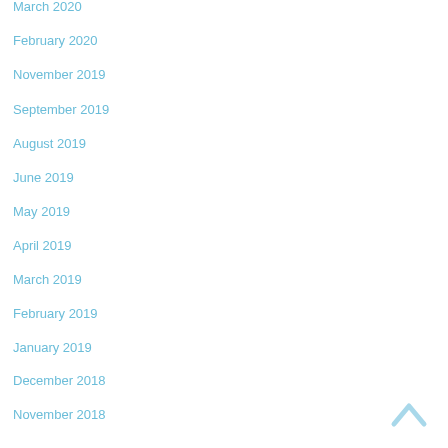March 2020
February 2020
November 2019
September 2019
August 2019
June 2019
May 2019
April 2019
March 2019
February 2019
January 2019
December 2018
November 2018
September 2018
August 2018